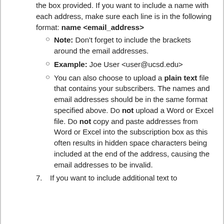the box provided. If you want to include a name with each address, make sure each line is in the following format: name <email_address>
Note: Don't forget to include the brackets around the email addresses.
Example: Joe User <user@ucsd.edu>
You can also choose to upload a plain text file that contains your subscribers. The names and email addresses should be in the same format specified above. Do not upload a Word or Excel file. Do not copy and paste addresses from Word or Excel into the subscription box as this often results in hidden space characters being included at the end of the address, causing the email addresses to be invalid.
7. If you want to include additional text to